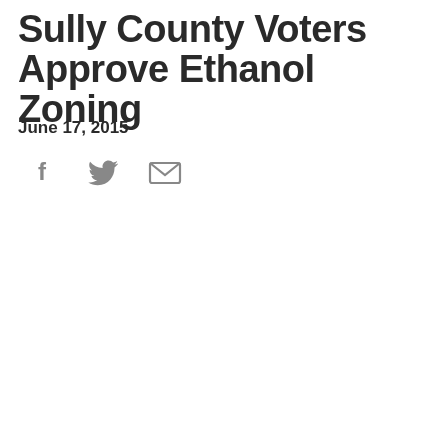Sully County Voters Approve Ethanol Zoning
June 17, 2015
[Figure (other): Social share icons: Facebook, Twitter, Email]